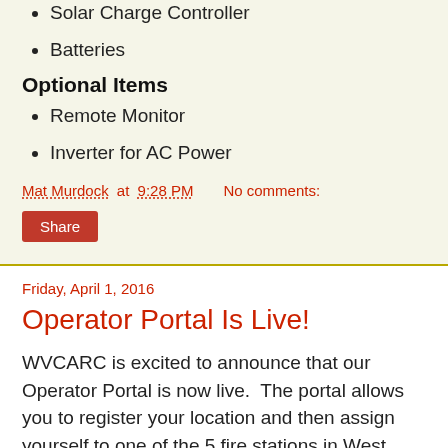Solar Charge Controller
Batteries
Optional Items
Remote Monitor
Inverter for AC Power
Mat Murdock at 9:28 PM    No comments:
Share
Friday, April 1, 2016
Operator Portal Is Live!
WVCARC is excited to announce that our Operator Portal is now live.  The portal allows you to register your location and then assign yourself to one of the 5 fire stations in West Valley City.  This will allow WVCARC and West Valley City